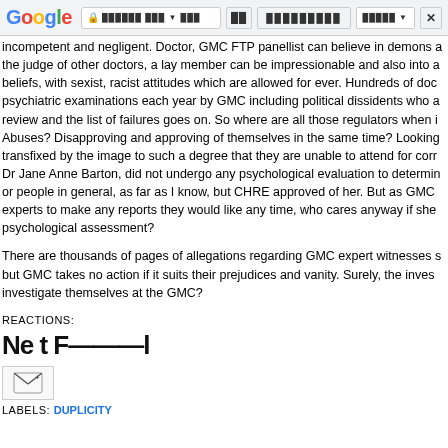[Figure (screenshot): Google Chrome browser navigation bar with Google logo, lock icon, URL bar with obfuscated text, navigation buttons, and close button]
incompetent and negligent. Doctor, GMC FTP panellist can believe in demons and be the judge of other doctors, a lay member can be impressionable and also into alternative beliefs, with sexist, racist attitudes which are allowed for ever. Hundreds of doctors sent to psychiatric examinations each year by GMC including political dissidents who asked for a review and the list of failures goes on. So where are all those regulators when it comes to Abuses? Disapproving and approving of themselves in the same time? Looking transfixed by the image to such a degree that they are unable to attend for correct actions? Dr Jane Anne Barton, did not undergo any psychological evaluation to determine her fitness or people in general, as far as I know, but CHRE approved of her. But as GMC can ask their experts to make any reports they would like any time, who cares anyway if she failed a psychological assessment?
There are thousands of pages of allegations regarding GMC expert witnesses submitted, but GMC takes no action if it suits their prejudices and vanity. Surely, the investigators must investigate themselves at the GMC?
REACTIONS:
[Figure (screenshot): Reaction icons showing stylized text buttons partially visible]
[Figure (screenshot): Small email/share icon button in a box]
LABELS: DUPLICITY